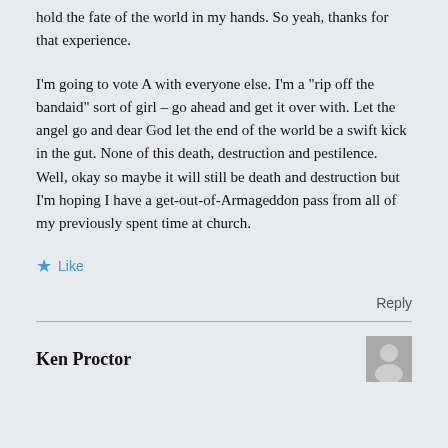hold the fate of the world in my hands. So yeah, thanks for that experience.
I'm going to vote A with everyone else. I'm a "rip off the bandaid" sort of girl – go ahead and get it over with. Let the angel go and dear God let the end of the world be a swift kick in the gut. None of this death, destruction and pestilence. Well, okay so maybe it will still be death and destruction but I'm hoping I have a get-out-of-Armageddon pass from all of my previously spent time at church.
Like
Reply
Ken Proctor